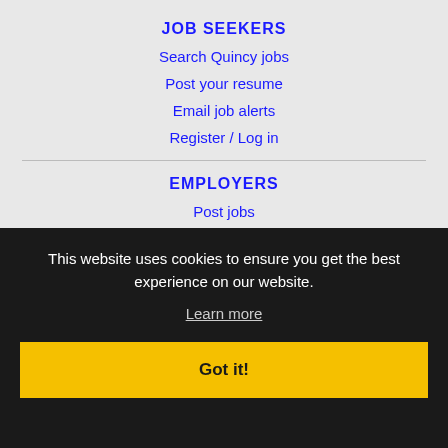JOB SEEKERS
Search Quincy jobs
Post your resume
Email job alerts
Register / Log in
EMPLOYERS
Post jobs
Search resumes
Email resume alerts
Advertise
IMMIGRATION SPECIALISTS
Post jobs
Immigration FAQs
This website uses cookies to ensure you get the best experience on our website.
Learn more
Got it!